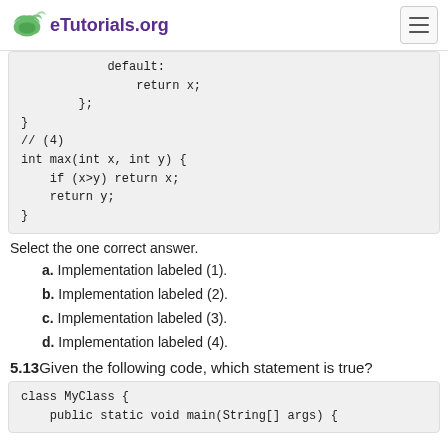eTutorials.org
[Figure (screenshot): Code block showing default: return x; }; } // (4) int max(int x, int y) { if (x>y) return x; return y; }]
Select the one correct answer.
a. Implementation labeled (1).
b. Implementation labeled (2).
c. Implementation labeled (3).
d. Implementation labeled (4).
5.13 Given the following code, which statement is true?
[Figure (screenshot): Code block showing: class MyClass {  public static void main(String[] args) {]